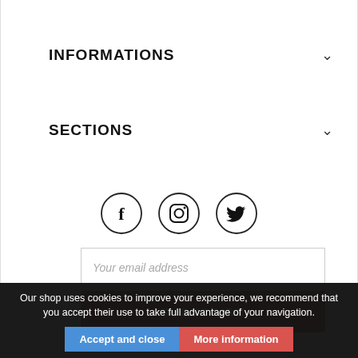INFORMATIONS
SECTIONS
[Figure (illustration): Three social media icon circles: Facebook (f), Instagram (camera), Twitter (bird)]
Your email address
SUBSCRIBE
Our shop uses cookies to improve your experience, we recommend that you accept their use to take full advantage of your navigation.
Accept and close
More information